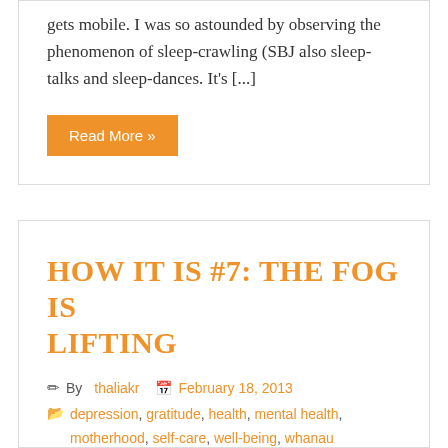gets mobile. I was so astounded by observing the phenomenon of sleep-crawling (SBJ also sleep-talks and sleep-dances. It's [...]
Read More »
HOW IT IS #7: THE FOG IS LIFTING
By thaliakr  February 18, 2013
depression, gratitude, health, mental health, motherhood, self-care, well-being, whanau
For the first time in 16 months, the fog is lifting. I am